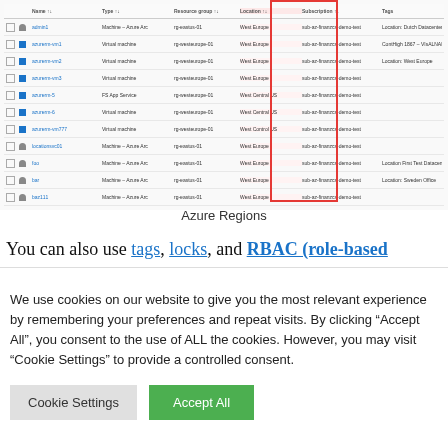[Figure (screenshot): Azure portal resource list screenshot showing a table of resources with columns: Name, Type, Resource group, Location (highlighted in red), Subscription, Tags. The Location column is highlighted with a red border.]
Azure Regions
You can also use tags, locks, and RBAC (role-based
We use cookies on our website to give you the most relevant experience by remembering your preferences and repeat visits. By clicking “Accept All”, you consent to the use of ALL the cookies. However, you may visit “Cookie Settings” to provide a controlled consent.
Cookie Settings | Accept All